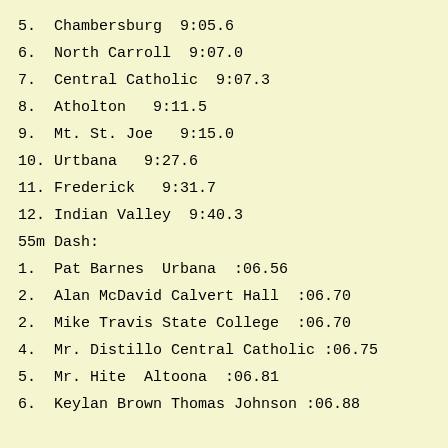5.  Chambersburg  9:05.6
6.  North Carroll  9:07.0
7.  Central Catholic  9:07.3
8.  Atholton   9:11.5
9.  Mt. St. Joe   9:15.0
10.  Urtbana   9:27.6
11.  Frederick   9:31.7
12.  Indian Valley  9:40.3
55m Dash:
1.  Pat Barnes  Urbana  :06.56
2.  Alan McDavid Calvert Hall  :06.70
2.  Mike Travis State College  :06.70
4.  Mr. Distillo Central Catholic :06.75
5.  Mr. Hite  Altoona  :06.81
6.  Keylan Brown Thomas Johnson :06.88